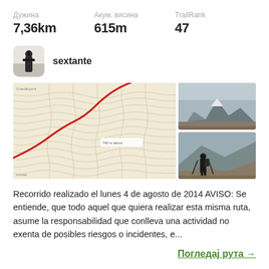Дужина
7,36km
Акум. висина
615m
TrailRank
47
sextante
[Figure (map): Topographic map with a red trail route marked on contour lines]
[Figure (photo): Mountain landscape photo - rocky terrain with snow]
[Figure (photo): Hiker with backpack on rocky mountain terrain]
Recorrido realizado el lunes 4 de agosto de 2014 AVISO: Se entiende, que todo aquel que quiera realizar esta misma ruta, asume la responsabilidad que conlleva una actividad no exenta de posibles riesgos o incidentes, e...
Погледај рута →